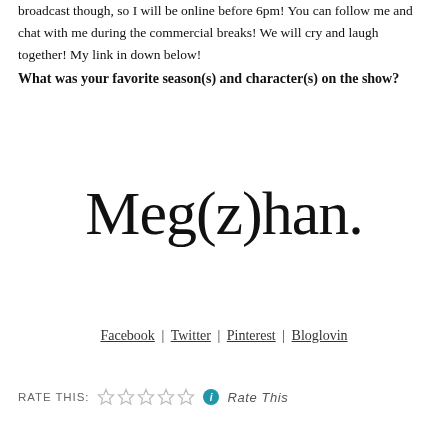broadcast though, so I will be online before 6pm! You can follow me and chat with me during the commercial breaks! We will cry and laugh together! My link in down below!
What was your favorite season(s) and character(s) on the show?
[Figure (logo): Blog logo reading 'Meg(z)han.' in large serif font]
Facebook | Twitter | Pinterest | Bloglovin
RATE THIS: ☆☆☆☆☆ ℹ Rate This